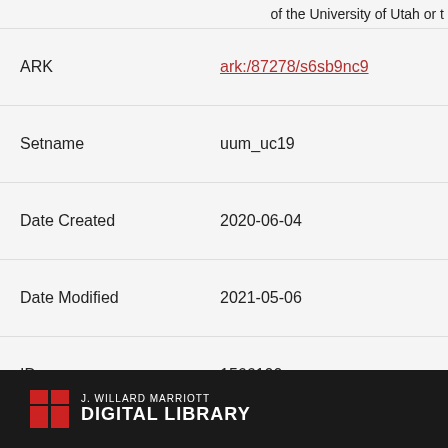of the University of Utah or t
| ARK | ark:/87278/s6sb9nc9 |
| Setname | uum_uc19 |
| Date Created | 2020-06-04 |
| Date Modified | 2021-05-06 |
| ID | 1566100 |
| Reference URL | https://collections.lib.utah.e |
Back to Search Results
[Figure (logo): J. Willard Marriott Digital Library logo with red block U icon on dark background]